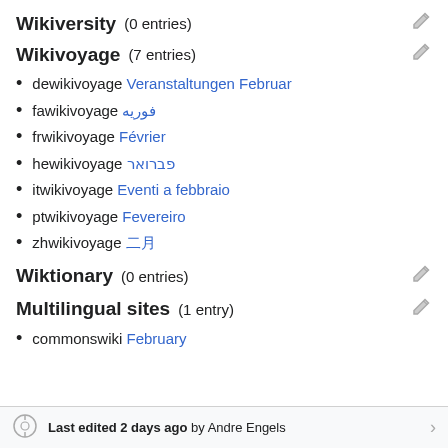Wikiversity (0 entries)
Wikivoyage (7 entries)
dewikivoyage Veranstaltungen Februar
fawikivoyage فوریه
frwikivoyage Février
hewikivoyage פברואר
itwikivoyage Eventi a febbraio
ptwikivoyage Fevereiro
zhwikivoyage 二月
Wiktionary (0 entries)
Multilingual sites (1 entry)
commonswiki February
Last edited 2 days ago by Andre Engels